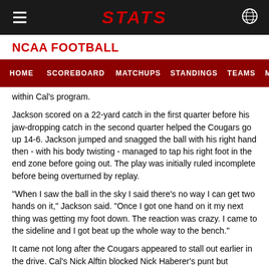STATS
NCAA FOOTBALL
HOME  SCOREBOARD  MATCHUPS  STANDINGS  TEAMS  MORE...
within Cal's program.
Jackson scored on a 22-yard catch in the first quarter before his jaw-dropping catch in the second quarter helped the Cougars go up 14-6. Jackson jumped and snagged the ball with his right hand then - with his body twisting - managed to tap his right foot in the end zone before going out. The play was initially ruled incomplete before being overturned by replay.
"When I saw the ball in the sky I said there's no way I can get two hands on it," Jackson said. "Once I got one hand on it my next thing was getting my foot down. The reaction was crazy. I came to the sideline and I got beat up the whole way to the bench."
It came not long after the Cougars appeared to stall out earlier in the drive. Cal's Nick Alftin blocked Nick Haberer's punt but Washington State's Ron Stone Jr. scooped up the loose ball and scampered 12 yards for a first down.
"The key for us was just to get a win," said Washington State coach Nick Rolovich, who raved about Jackson's catch after being shown the video